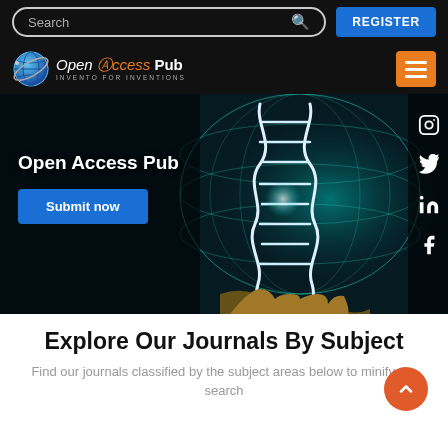Search | REGISTER
[Figure (logo): Open Access Pub logo with globe icon and tagline INVENTO FOR INVENTIONS]
[Figure (photo): Hero image showing glowing DNA double helix held by a hand against a dark teal globe background, with text 'Open Access Pub' and a 'Submit now' button, and social media icons (Instagram, Twitter, LinkedIn, Facebook) on the right side]
Explore Our Journals By Subject
Find our journals classified by the subject areas below to minify the search